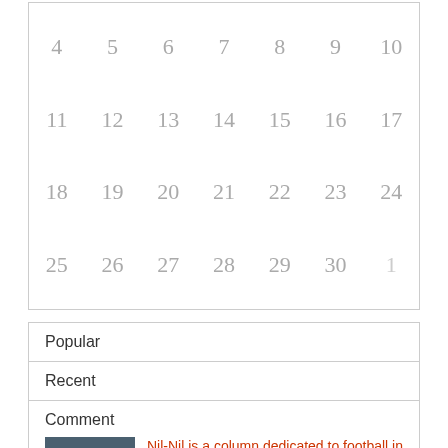[Figure (other): Calendar grid showing dates 4-30 and 1, arranged in rows of 7 columns]
Popular
Recent
Comment
[Figure (photo): Group photo of football/soccer players in team uniforms]
Nil-Nil is a column dedicated to football in China and around the world
November 7, 2015   23 comments